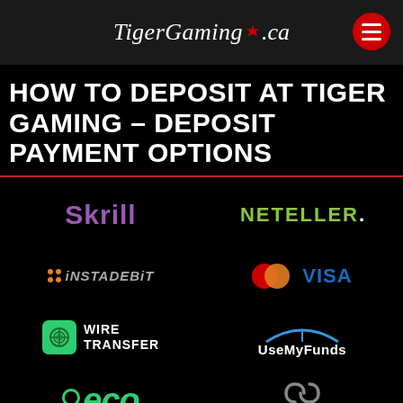TigerGaming.ca
HOW TO DEPOSIT AT TIGER GAMING – DEPOSIT PAYMENT OPTIONS
[Figure (logo): Payment method logos: Skrill, NETELLER, iNSTADEBiT, MasterCard, VISA, Wire Transfer, UseMyFunds, eco, entropay, iDebit]